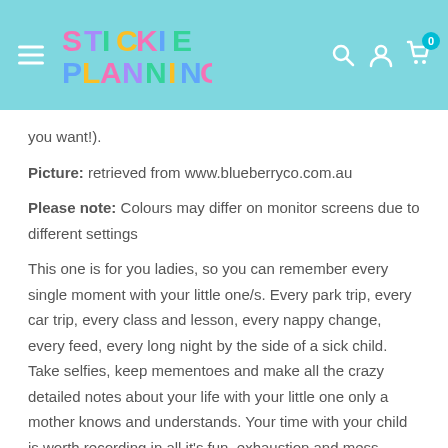Stickie Planning
you want!).
Picture: retrieved from www.blueberryco.com.au
Please note: Colours may differ on monitor screens due to different settings
This one is for you ladies, so you can remember every single moment with your little one/s. Every park trip, every car trip, every class and lesson, every nappy change, every feed, every long night by the side of a sick child. Take selfies, keep mementoes and make all the crazy detailed notes about your life with your little one only a mother knows and understands. Your time with your child is worth recording in all it's fun, exhaustion and mess because mothers are special, and one day